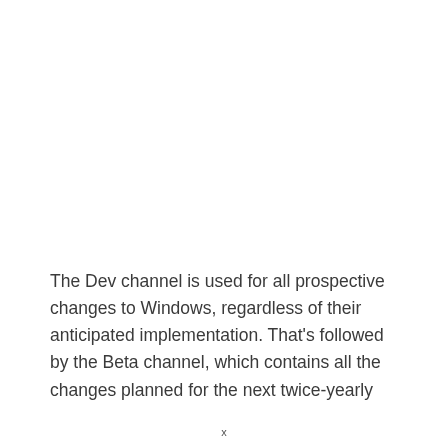The Dev channel is used for all prospective changes to Windows, regardless of their anticipated implementation. That's followed by the Beta channel, which contains all the changes planned for the next twice-yearly
x